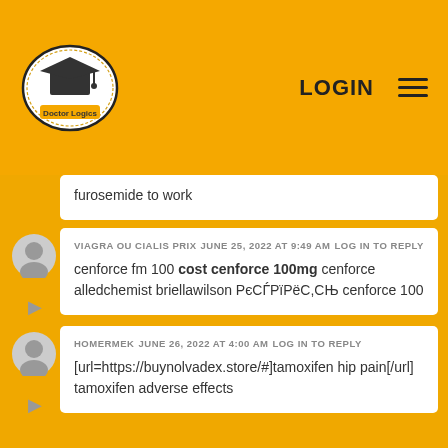[Figure (logo): Doctor Logics logo: graduation cap inside an oval with wheat/laurel border and banner]
LOGIN
furosemide to work
VIAGRA OU CIALIS PRIX  JUNE 25, 2022 AT 9:49 AM  LOG IN TO REPLY

cenforce fm 100 cost cenforce 100mg cenforce alledchemist briellawilson РєСЃРїРёС,СЊ cenforce 100
HOMERMEK  JUNE 26, 2022 AT 4:00 AM  LOG IN TO REPLY

[url=https://buynolvadex.store/#]tamoxifen hip pain[/url] tamoxifen adverse effects